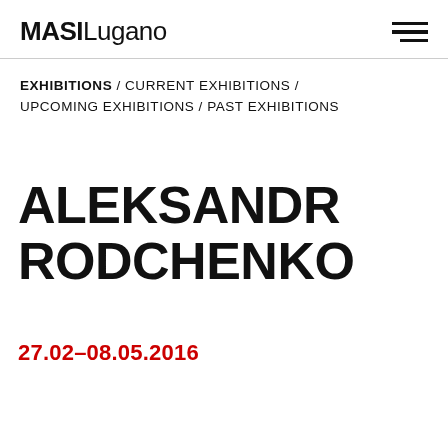MASILugano
EXHIBITIONS / CURRENT EXHIBITIONS / UPCOMING EXHIBITIONS / PAST EXHIBITIONS
ALEKSANDR RODCHENKO
27.02–08.05.2016